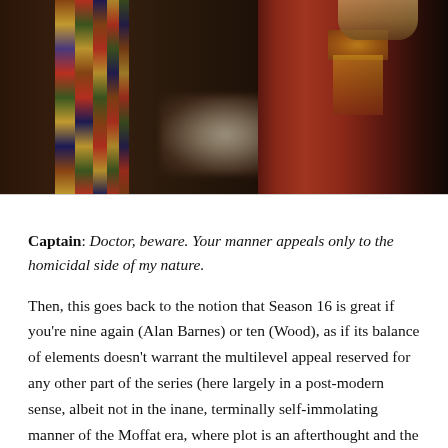[Figure (photo): A still from a TV show (Doctor Who) showing two figures: on the left, a person in a brown jacket wearing a long multicolored striped scarf; on the right, a person in an elaborate red/gold medieval-style costume dress. The image is dark and cropped at the torso/chest level.]
Captain: Doctor, beware. Your manner appeals only to the homicidal side of my nature.
Then, this goes back to the notion that Season 16 is great if you're nine again (Alan Barnes) or ten (Wood), as if its balance of elements doesn't warrant the multilevel appeal reserved for any other part of the series (here largely in a post-modern sense, albeit not in the inane, terminally self-immolating manner of the Moffat era, where plot is an afterthought and the series tries and fails to juggle a